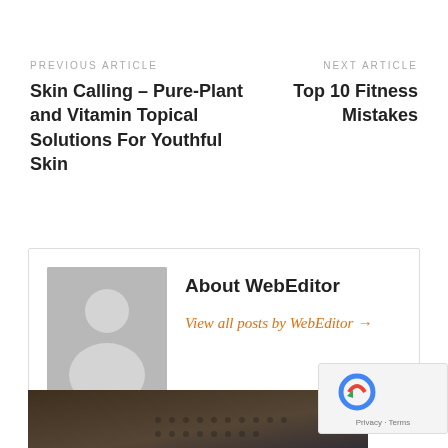PREVIOUS ARTICLE
Skin Calling – Pure-Plant and Vitamin Topical Solutions For Youthful Skin
NEXT ARTICLE
Top 10 Fitness Mistakes
About WebEditor
View all posts by WebEditor →
[Figure (photo): Partial view of a dark-toned image at the bottom of the page]
[Figure (other): reCAPTCHA widget with Privacy and Terms text]